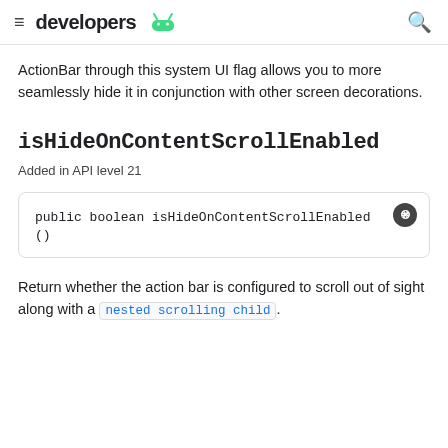developers
ActionBar through this system UI flag allows you to more seamlessly hide it in conjunction with other screen decorations.
isHideOnContentScrollEnabled
Added in API level 21
public boolean isHideOnContentScrollEnabled ()
Return whether the action bar is configured to scroll out of sight along with a nested scrolling child.